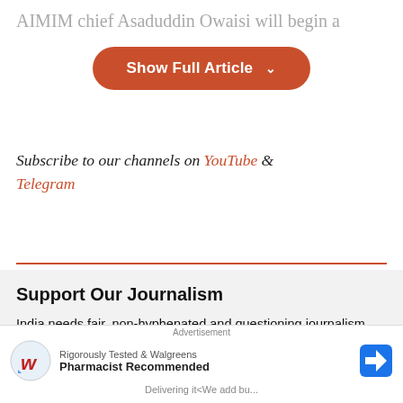AIMIM chief Asaduddin Owaisi will begin a
[Figure (screenshot): Orange rounded button labeled 'Show Full Article' with a downward chevron]
Subscribe to our channels on YouTube & Telegram
Support Our Journalism
India needs fair, non-hyphenated and questioning journalism, packed with on-ground reporting. ThePrint – with exceptional reporters, columnists and editors - is doing just that.
Sustaining this needs support from wonderful readers like you.
Whe... a paid
[Figure (logo): The Print circular logo in orange/red]
[Figure (screenshot): Advertisement overlay: Walgreens ad - Rigorously Tested & Walgreens Pharmacist Recommended, with navigation arrow icon]